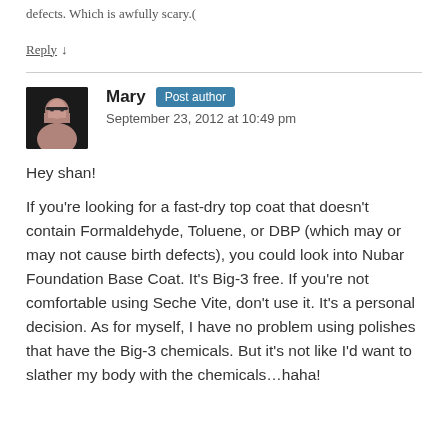defects. Which is awfully scary.(
Reply ↓
Mary  Post author
September 23, 2012 at 10:49 pm
Hey shan!

If you're looking for a fast-dry top coat that doesn't contain Formaldehyde, Toluene, or DBP (which may or may not cause birth defects), you could look into Nubar Foundation Base Coat. It's Big-3 free. If you're not comfortable using Seche Vite, don't use it. It's a personal decision. As for myself, I have no problem using polishes that have the Big-3 chemicals. But it's not like I'd want to slather my body with the chemicals…haha!